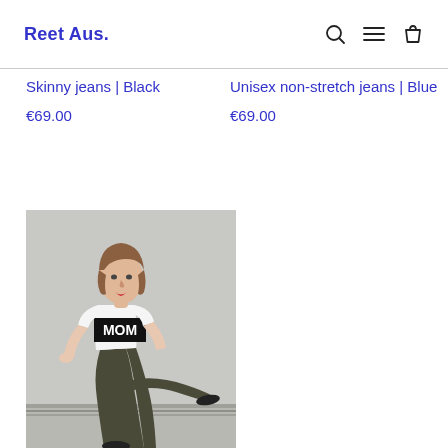Reet Aus.
Skinny jeans | Black
€69.00
Unisex non-stretch jeans | Blue
€69.00
[Figure (photo): A woman wearing a white T-shirt with 'MOM' print and dark olive/khaki slim jeans, posing against a grey wall, leaning sideways with legs crossed, wearing black shoes.]